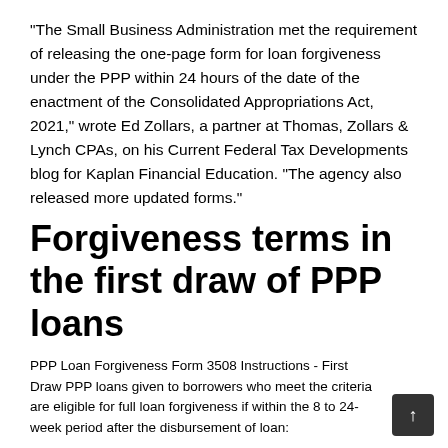"The Small Business Administration met the requirement of releasing the one-page form for loan forgiveness under the PPP within 24 hours of the date of the enactment of the Consolidated Appropriations Act, 2021," wrote Ed Zollars, a partner at Thomas, Zollars & Lynch CPAs, on his Current Federal Tax Developments blog for Kaplan Financial Education. "The agency also released more updated forms."
Forgiveness terms in the first draw of PPP loans
PPP Loan Forgiveness Form 3508 Instructions - First Draw PPP loans given to borrowers who meet the criteria are eligible for full loan forgiveness if within the 8 to 24-week period after the disbursement of loan: